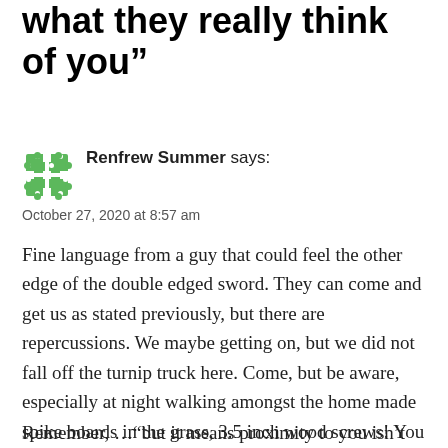what they really think of you”
[Figure (illustration): Green puzzle piece avatar icon for user Renfrew Summer]
Renfrew Summer says:
October 27, 2020 at 8:57 am
Fine language from a guy that could feel the other edge of the double edged sword. They can come and get us as stated previously, but there are repercussions. We maybe getting on, but we did not fall off the turnip truck here. Come, but be aware, especially at night walking amongst the home made spike boards in the grass, 3.5 inch wood screws! You have been warned. Multi layered defence to the door.
Remember, …“but it means proximity to you isn’t